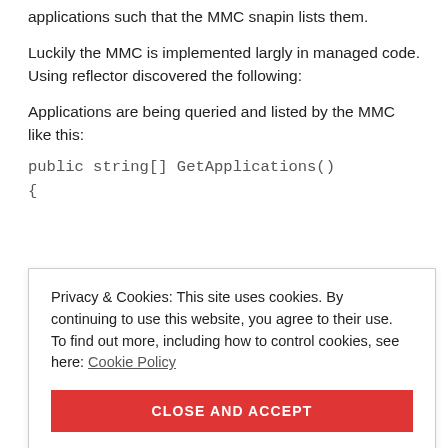applications such that the MMC snapin lists them.
Luckily the MMC is implemented largly in managed code. Using reflector discovered the following:
Applications are being queried and listed by the MMC like this:
public string[] GetApplications()
{
Privacy & Cookies: This site uses cookies. By continuing to use this website, you agree to their use.
To find out more, including how to control cookies, see here: Cookie Policy
CLOSE AND ACCEPT
this._ssDBServer + , InitialCatalog = this._ssDB + ,